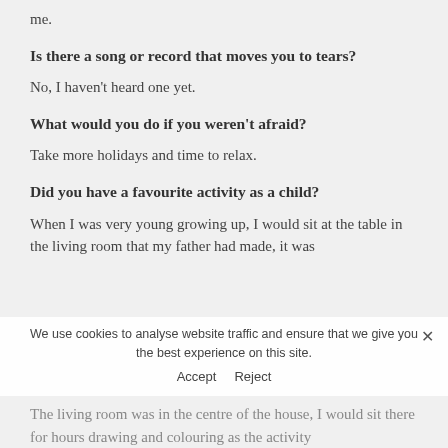me.
Is there a song or record that moves you to tears?
No, I haven't heard one yet.
What would you do if you weren't afraid?
Take more holidays and time to relax.
Did you have a favourite activity as a child?
When I was very young growing up, I would sit at the table in the living room that my father had made, it was
The living room was in the centre of the house, I would sit there for hours drawing and colouring as the activity